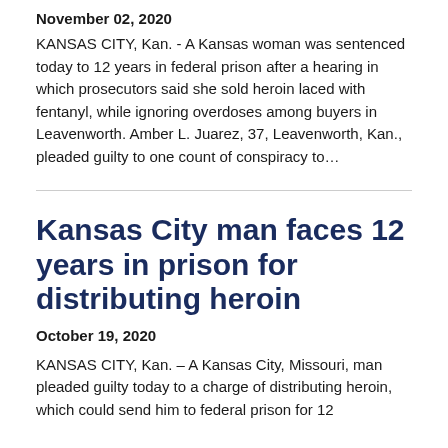November 02, 2020
KANSAS CITY, Kan. - A Kansas woman was sentenced today to 12 years in federal prison after a hearing in which prosecutors said she sold heroin laced with fentanyl, while ignoring overdoses among buyers in Leavenworth. Amber L. Juarez, 37, Leavenworth, Kan., pleaded guilty to one count of conspiracy to…
Kansas City man faces 12 years in prison for distributing heroin
October 19, 2020
KANSAS CITY, Kan. – A Kansas City, Missouri, man pleaded guilty today to a charge of distributing heroin, which could send him to federal prison for 12